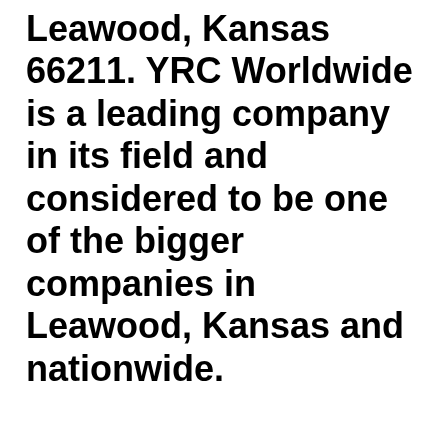Leawood, Kansas 66211. YRC Worldwide is a leading company in its field and considered to be one of the bigger companies in Leawood, Kansas and nationwide.